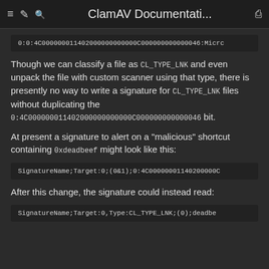ClamAV Documentati...
0:0:4C000000011402000000000000C000000000000046:Micrc
Though we can classify a file as CL_TYPE_LNK and even unpack the file with custom scanner using that type, there is presently no way to write a signature for CL_TYPE_LNK files without duplicating the 0:4C000000011402000000000000C000000000000046 bit.
At present a signature to alert on a "malicious" shortcut containing 0xdeadbeef might look like this:
SignatureName;Target:0;(0&1);0:4C00000001140200000C
After this change, the signature could instead read:
SignatureName;Target:0,Type:CL_TYPE_LNK;(0);deadbe